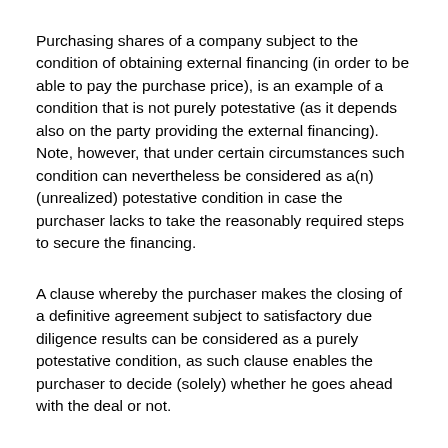Purchasing shares of a company subject to the condition of obtaining external financing (in order to be able to pay the purchase price), is an example of a condition that is not purely potestative (as it depends also on the party providing the external financing). Note, however, that under certain circumstances such condition can nevertheless be considered as a(n) (unrealized) potestative condition in case the purchaser lacks to take the reasonably required steps to secure the financing.
A clause whereby the purchaser makes the closing of a definitive agreement subject to satisfactory due diligence results can be considered as a purely potestative condition, as such clause enables the purchaser to decide (solely) whether he goes ahead with the deal or not.
As a result, specific attention is required when drafting CPs. With regard to the latter example, parties could